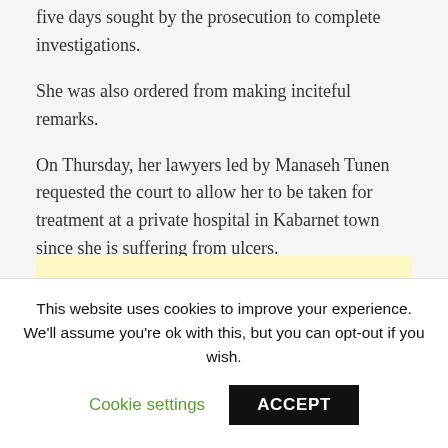five days sought by the prosecution to complete investigations.
She was also ordered from making inciteful remarks.
On Thursday, her lawyers led by Manaseh Tunen requested the court to allow her to be taken for treatment at a private hospital in Kabarnet town since she is suffering from ulcers.
This website uses cookies to improve your experience. We'll assume you're ok with this, but you can opt-out if you wish.
Cookie settings
ACCEPT